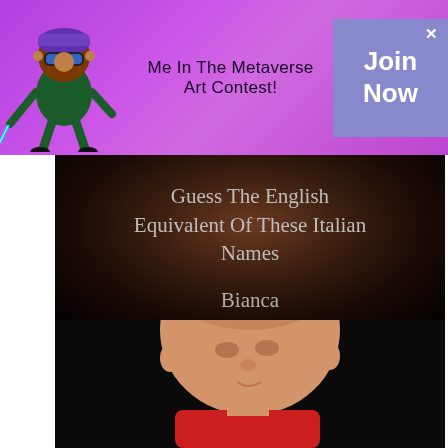[Figure (illustration): Purple metaverse ninja mascot character with VR headset holding a glowing sword]
Me In The Metaverse Art Contest!
Join Now
[Figure (photo): Baby with short hair wearing a red outfit, looking downward against a dark background, shown below quiz title text]
Guess The English Equivalent Of These Italian Names
Bianca